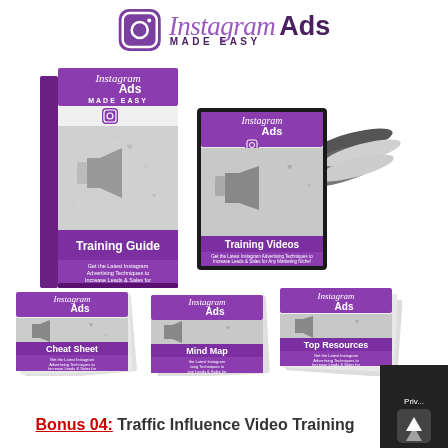[Figure (logo): Instagram Ads Made Easy logo with Instagram camera icon and stylized script/bold text]
[Figure (illustration): Instagram Ads Made Easy product bundle showing Training Guide book, Training Videos DVD set, Cheat Sheet, Mind Map, and Top Resources cards with purple branding]
Bonus 04: Traffic Influence Video Training